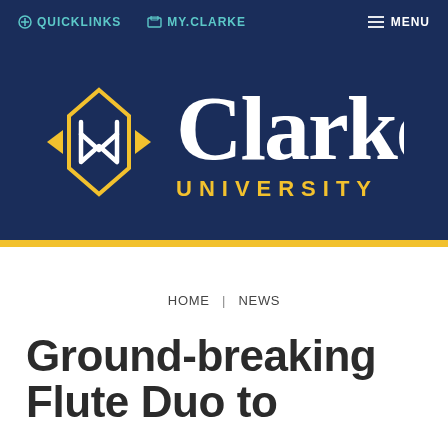QUICKLINKS  MY.CLARKE  MENU
[Figure (logo): Clarke University logo with geometric diamond/arrow mark in gold and white on dark navy background, with 'Clarke' in large white serif text and 'UNIVERSITY' in gold spaced lettering below]
HOME | NEWS
Ground-breaking Flute Duo to